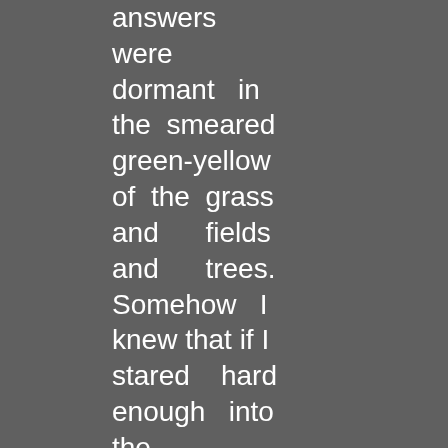answers were dormant in the smeared green-yellow of the grass and fields and trees. Somehow I knew that if I stared hard enough into the abstractness an answer